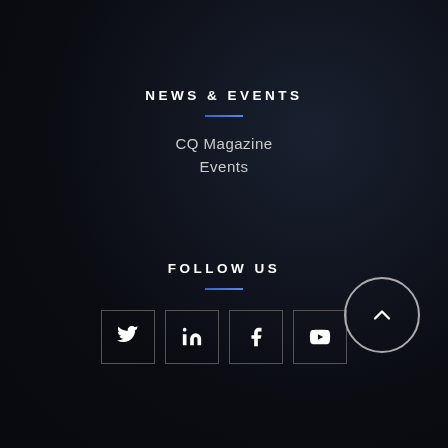NEWS & EVENTS
CQ Magazine
Events
FOLLOW US
[Figure (other): Social media icon buttons: Twitter, LinkedIn, Facebook, YouTube — square bordered icons arranged in a row]
[Figure (other): Back to top button — circular with upward chevron arrow]